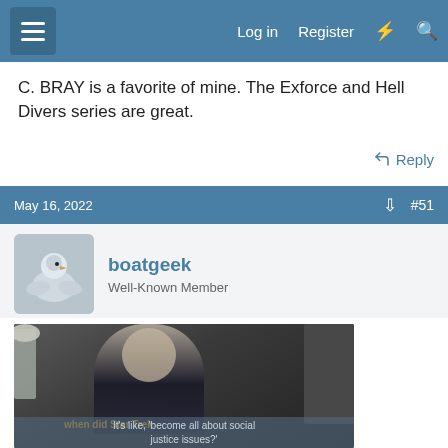Log in  Register  [flash icon]  [search icon]
C. BRAY is a favorite of mine. The Exforce and Hell Divers series are great.
Reply
May 16, 2022  [share icon]  #51
boatgeek
Well-Known Member
[Figure (screenshot): Screenshot from a TV show or streaming video showing a woman looking upward in an indoor setting with a lamp on the left and shelving on the right. Yellow subtitles read 'when did Star Trek' and below a semi-transparent bar shows 'It's like, become all about social justice issues?']